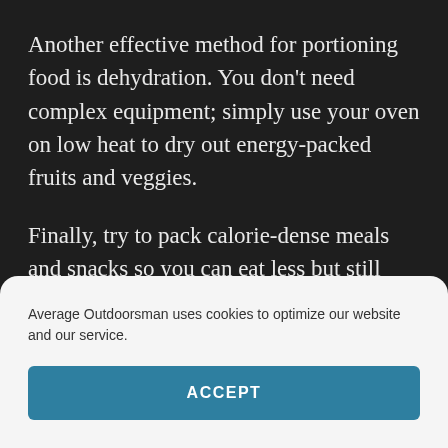Another effective method for portioning food is dehydration. You don’t need complex equipment; simply use your oven on low heat to dry out energy-packed fruits and veggies.
Finally, try to pack calorie-dense meals and snacks so you can eat less but still obtain enough energy and nutrients for your hike. Nut butters, dried fruits and jerky are all nutrient-rich options.
If you are planning a short, warm-weather hike, leave
Average Outdoorsman uses cookies to optimize our website and our service.
ACCEPT